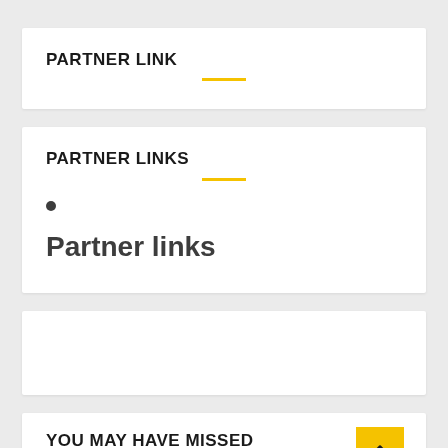PARTNER LINK
PARTNER LINKS
Partner links
YOU MAY HAVE MISSED
[Figure (photo): Grey placeholder thumbnail image]